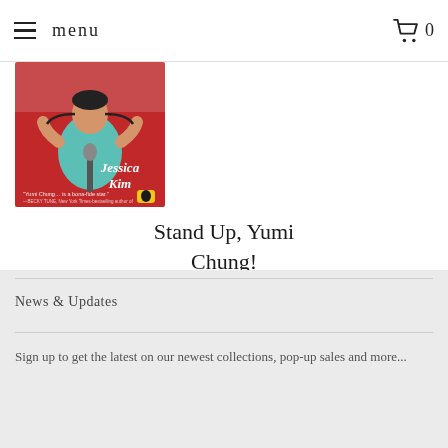menu  0
[Figure (photo): Book cover of 'Stand Up, Yumi Chung!' by Jessica Kim. Red background with illustrated figure of a person holding a microphone, wearing a teal shirt. Penguin Books logo at bottom right.]
Stand Up, Yumi Chung!
$8.99
News & Updates
Sign up to get the latest on our newest collections, pop-up sales and more...